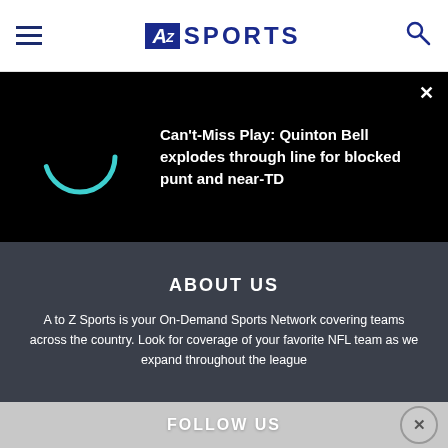AZ SPORTS
[Figure (screenshot): Video player loading spinner with title: Can't-Miss Play: Quinton Bell explodes through line for blocked punt and near-TD]
ABOUT US
A to Z Sports is your On-Demand Sports Network covering teams across the country. Look for coverage of your favorite NFL team as we expand throughout the league
FOLLOW US